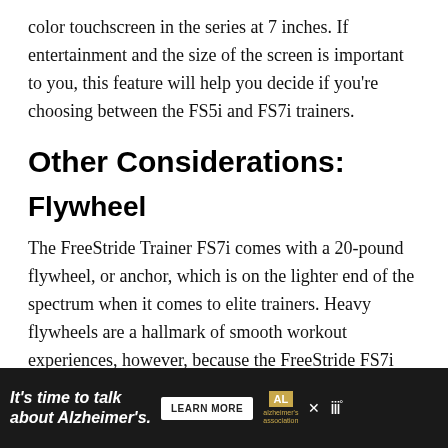color touchscreen in the series at 7 inches. If entertainment and the size of the screen is important to you, this feature will help you decide if you're choosing between the FS5i and FS7i trainers.
Other Considerations:
Flywheel
The FreeStride Trainer FS7i comes with a 20-pound flywheel, or anchor, which is on the lighter end of the spectrum when it comes to elite trainers. Heavy flywheels are a hallmark of smooth workout experiences, however, because the FreeStride FS7i Trainer has center-drive design and the center of gravity is a bit more balanced, it should still be able to give you a sm...
[Figure (other): Advertisement banner: dark background with text 'It's time to talk about Alzheimer's.' and a LEARN MORE button, Alzheimer's Association logo, and WW logo with close button.]